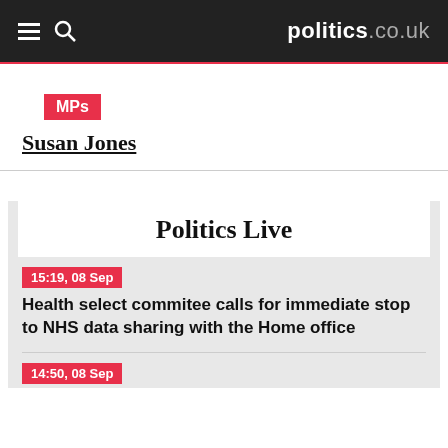politics.co.uk
MPs
Susan Jones
Politics Live
15:19, 08 Sep
Health select commitee calls for immediate stop to NHS data sharing with the Home office
14:50, 08 Sep